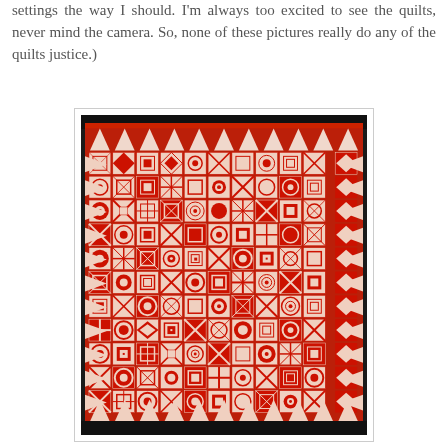settings the way I should. I'm always too excited to see the quilts, never mind the camera. So, none of these pictures really do any of the quilts justice.)
[Figure (photo): A large red and white quilt displayed on a wall with black curtains visible at top and bottom. The quilt features many different geometric patchwork block patterns arranged in a grid, all in red and white colors. The border of the quilt has triangular points. The quilt is photographed in what appears to be a show or exhibition setting.]